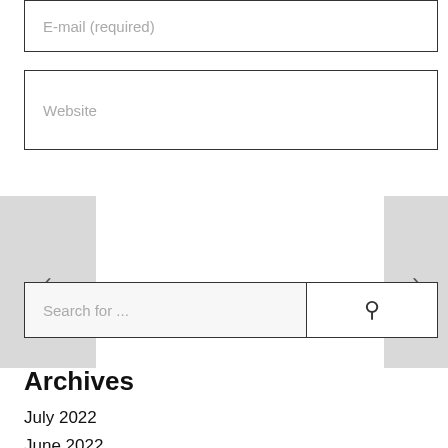E-mail (required)
Website
[Figure (other): Navigation left arrow button (gray background with < symbol)]
[Figure (other): Navigation right arrow button (gray background with > symbol)]
Search for ...
Archives
July 2022
June 2022